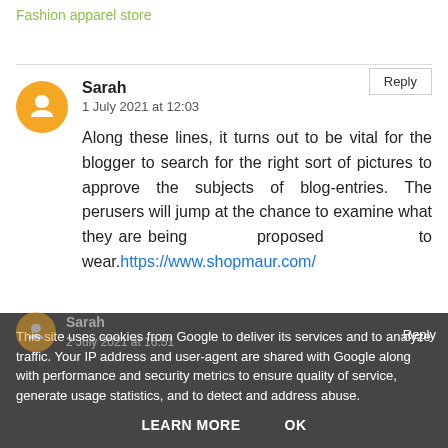Fashion apparel store
Reply
Sarah
1 July 2021 at 12:03

Along these lines, it turns out to be vital for the blogger to search for the right sort of pictures to approve the subjects of blog-entries. The perusers will jump at the chance to examine what they are being proposed to wear. https://www.shopmaur.com/
This site uses cookies from Google to deliver its services and to analyze traffic. Your IP address and user-agent are shared with Google along with performance and security metrics to ensure quality of service, generate usage statistics, and to detect and address abuse.
LEARN MORE   OK
Reply
Sarah
2 July 2021 at 16:51